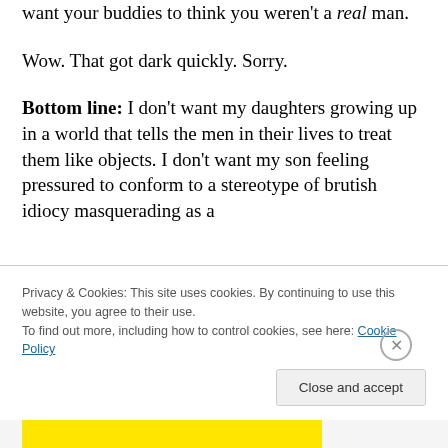want your buddies to think you weren't a real man.
Wow. That got dark quickly. Sorry.
Bottom line: I don't want my daughters growing up in a world that tells the men in their lives to treat them like objects. I don't want my son feeling pressured to conform to a stereotype of brutish idiocy masquerading as a coveted brotherhood.
Privacy & Cookies: This site uses cookies. By continuing to use this website, you agree to their use. To find out more, including how to control cookies, see here: Cookie Policy